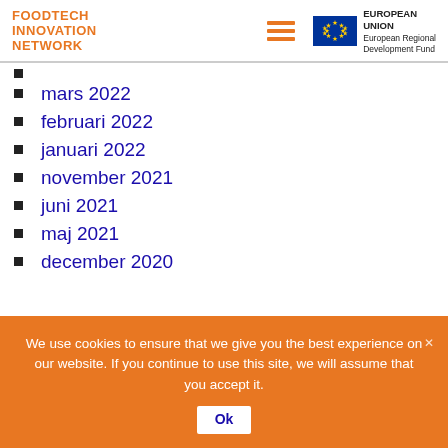FOODTECH INNOVATION NETWORK
mars 2022
februari 2022
januari 2022
november 2021
juni 2021
maj 2021
december 2020
We use cookies to ensure that we give you the best experience on our website. If you continue to use this site, we will assume that you accept it.
Ok